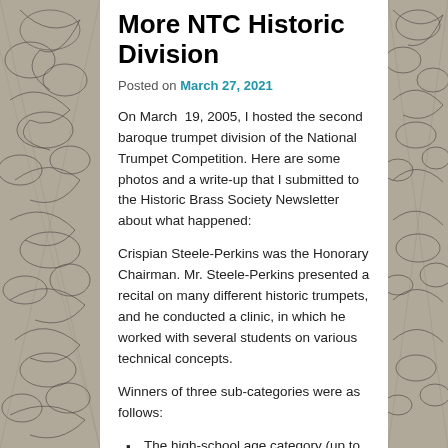[Figure (illustration): Decorative black-and-white floral/botanical engraving on the left side of the page]
[Figure (illustration): Decorative black-and-white floral/botanical engraving on the right side of the page]
More NTC Historic Division
Posted on March 27, 2021
On March 19, 2005, I hosted the second baroque trumpet division of the National Trumpet Competition. Here are some photos and a write-up that I submitted to the Historic Brass Society Newsletter about what happened:
Crispian Steele-Perkins was the Honorary Chairman. Mr. Steele-Perkins presented a recital on many different historic trumpets, and he conducted a clinic, in which he worked with several students on various technical concepts.
Winners of three sub-categories were as follows:
The high-school age category (up to age 18) known as the “Shore Award,” was won by Kevin Abel. He won a $250 cash prize. He played the 2nd etude from “25 Études Caractéristiques” by F. G. A...